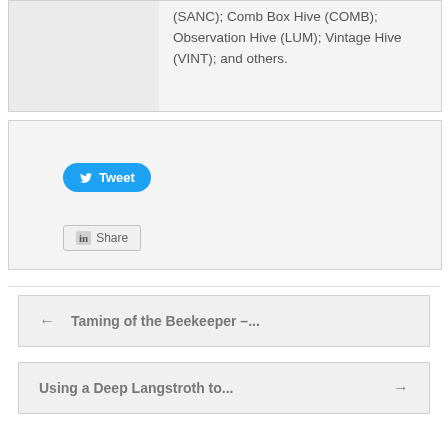(SANC); Comb Box Hive (COMB); Observation Hive (LUM); Vintage Hive (VINT); and others.
[Figure (other): Social sharing buttons: Tweet (Twitter) and Share (LinkedIn)]
← Taming of the Beekeeper –...
Using a Deep Langstroth to... →